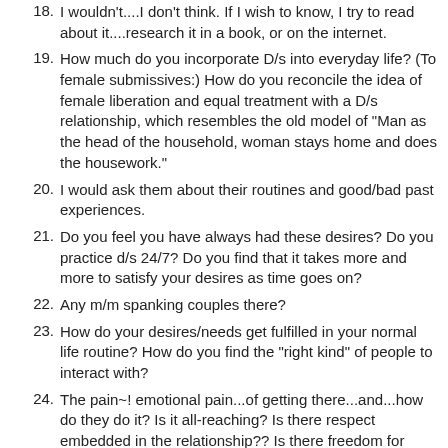18. I wouldn't....I don't think. If I wish to know, I try to read about it....research it in a book, or on the internet.
19. How much do you incorporate D/s into everyday life? (To female submissives:) How do you reconcile the idea of female liberation and equal treatment with a D/s relationship, which resembles the old model of "Man as the head of the household, woman stays home and does the housework."
20. I would ask them about their routines and good/bad past experiences.
21. Do you feel you have always had these desires? Do you practice d/s 24/7? Do you find that it takes more and more to satisfy your desires as time goes on?
22. Any m/m spanking couples there?
23. How do your desires/needs get fulfilled in your normal life routine? How do you find the "right kind" of people to interact with?
24. The pain~! emotional pain...of getting there...and...how do they do it? Is it all-reaching? Is there respect embedded in the relationship?? Is there freedom for